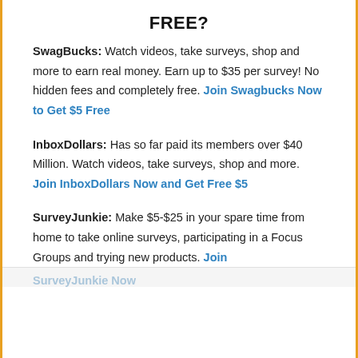FREE?
SwagBucks: Watch videos, take surveys, shop and more to earn real money. Earn up to $35 per survey! No hidden fees and completely free. Join Swagbucks Now to Get $5 Free
InboxDollars: Has so far paid its members over $40 Million. Watch videos, take surveys, shop and more. Join InboxDollars Now and Get Free $5
SurveyJunkie: Make $5-$25 in your spare time from home to take online surveys, participating in a Focus Groups and trying new products. Join
SurveyJunkie Now